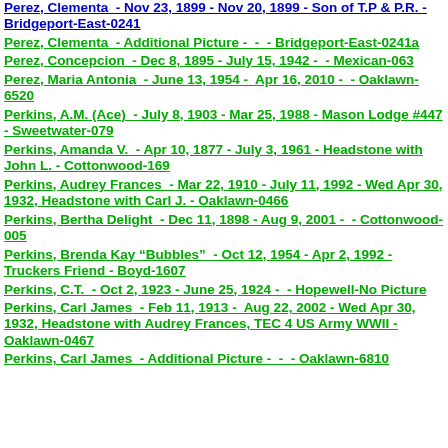Perez, Clementa  - Nov 23, 1899 - Nov 20, 1899 - Son of T.P & P.R. - Bridgeport-East-0241
Perez, Clementa  - Additional Picture -  -  - Bridgeport-East-0241a
Perez, Concepcion  - Dec 8, 1895 - July 15, 1942 -  - Mexican-063
Perez, Maria Antonia  - June 13, 1954 -  Apr 16, 2010 -  - Oaklawn-6520
Perkins, A.M. (Ace)  - July 8, 1903 - Mar 25, 1988 - Mason Lodge #447 - Sweetwater-079
Perkins, Amanda V.  - Apr 10, 1877 - July 3, 1961 - Headstone with John L. - Cottonwood-169
Perkins, Audrey Frances  - Mar 22, 1910 - July 11, 1992 - Wed Apr 30, 1932, Headstone with Carl J. - Oaklawn-0466
Perkins, Bertha Delight  - Dec 11, 1898 - Aug 9, 2001 -  - Cottonwood-005
Perkins, Brenda Kay "Bubbles"  - Oct 12, 1954 - Apr 2, 1992 - Truckers Friend - Boyd-1607
Perkins, C.T.  - Oct 2, 1923 - June 25, 1924 -  - Hopewell-No Picture
Perkins, Carl James  - Feb 11, 1913 -  Aug 22, 2002 - Wed Apr 30, 1932, Headstone with Audrey Frances, TEC 4 US Army WWII - Oaklawn-0467
Perkins, Carl James  - Additional Picture -  -  - Oaklawn-6810